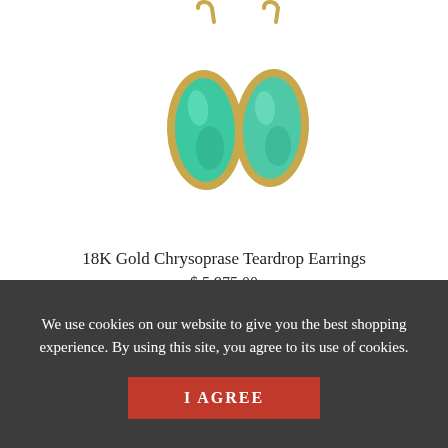[Figure (photo): Two teardrop-shaped earrings with green chrysoprase stones set in 18K gold bezels, hanging from gold fishhook wires, photographed on white background.]
18K Gold Chrysoprase Teardrop Earrings
$ 5,975.00
We use cookies on our website to give you the best shopping experience. By using this site, you agree to its use of cookies.
I AGREE